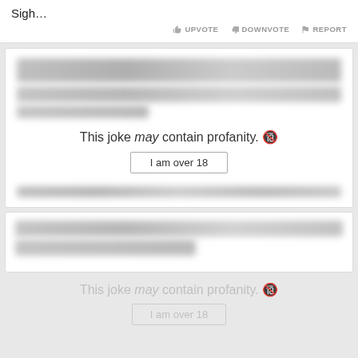Sigh…
UPVOTE   DOWNVOTE   REPORT
[Figure (screenshot): Blurred joke card with profanity warning overlay showing 'This joke may contain profanity.' and 'I am over 18' button]
[Figure (screenshot): Second blurred joke card]
This joke may contain profanity.
I am over 18